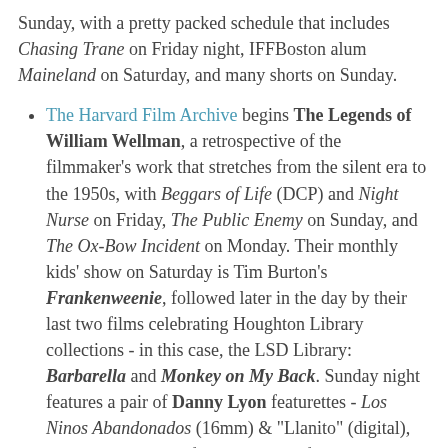Sunday, with a pretty packed schedule that includes Chasing Trane on Friday night, IFFBoston alum Maineland on Saturday, and many shorts on Sunday.
The Harvard Film Archive begins The Legends of William Wellman, a retrospective of the filmmaker's work that stretches from the silent era to the 1950s, with Beggars of Life (DCP) and Night Nurse on Friday, The Public Enemy on Sunday, and The Ox-Bow Incident on Monday. Their monthly kids' show on Saturday is Tim Burton's Frankenweenie, followed later in the day by their last two films celebrating Houghton Library collections - in this case, the LSD Library: Barbarella and Monkey on My Back. Sunday night features a pair of Danny Lyon featurettes - Los Ninos Abandonados (16mm) & "Llanito" (digital), while Sunday has a free screening of 1976 Soviet comedy-drama Slave of Love (digital) at the Tsai Auditorium. All in 35mm